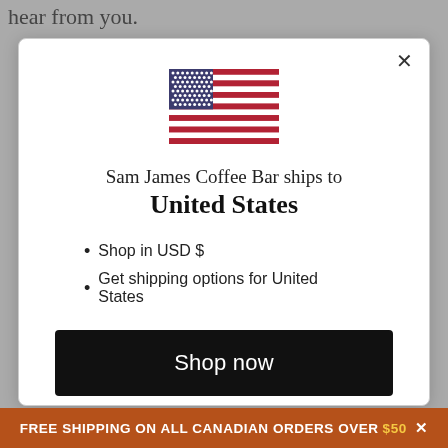hear from you.
[Figure (illustration): US flag SVG illustration]
Sam James Coffee Bar ships to
United States
Shop in USD $
Get shipping options for United States
Shop now
Change shipping country
FREE SHIPPING ON ALL CANADIAN ORDERS OVER $50 ×